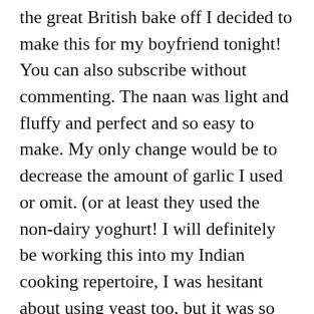the great British bake off I decided to make this for my boyfriend tonight! You can also subscribe without commenting. The naan was light and fluffy and perfect and so easy to make. My only change would be to decrease the amount of garlic I used or omit. (or at least they used the non-dairy yoghurt! I will definitely be working this into my Indian cooking repertoire, I was hesitant about using yeast too, but it was so easy, thanks! (I accidentally doubled the yeast because I thought it said 1 packet rather than 1 tsp, I also only let this rise for only about 45 minutes because that's all the time I had). Us and other readers sharing this amazing recipe GF using gluten-free all purpose flour from King Arthur s... Yeast became more readily available, naan's favorite meals